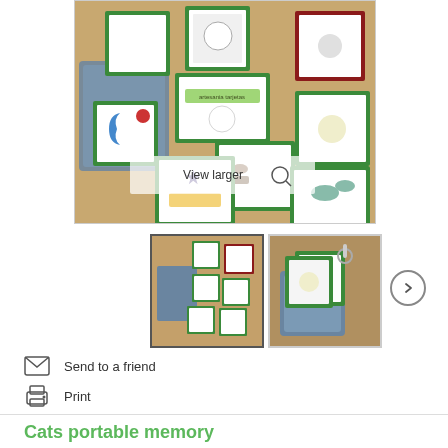[Figure (photo): Main product photo showing memory card game with cat illustrations, green-bordered cards spread on a wooden surface, with a denim pouch. 'View larger' overlay visible.]
[Figure (photo): Thumbnail 1: all cards spread out on surface with denim pouch]
[Figure (photo): Thumbnail 2: cards stacked in denim pouch]
View larger
Send to a friend
Print
Cats portable memory